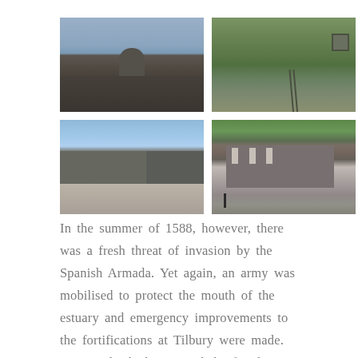[Figure (photo): Grid of four photographs showing Tilbury Fort: top-left shows stone walls with a gate/arch; top-right shows a green earthwork mound with steps; bottom-left shows interior stone walls of the fort with a flat surface; bottom-right shows a Georgian stone building with windows and green trees.]
In the summer of 1588, however, there was a fresh threat of invasion by the Spanish Armada. Yet again, an army was mobilised to protect the mouth of the estuary and emergency improvements to the fortifications at Tilbury were made. Queen Elizabeth I visited the fort by barge and gave a